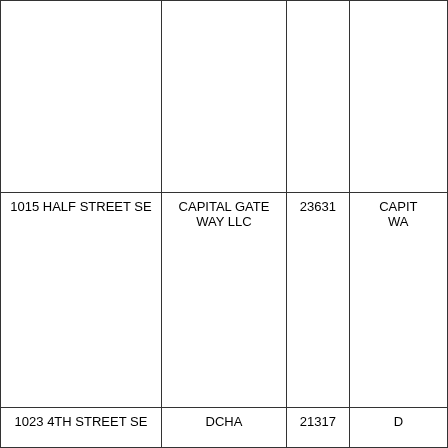|  |  |  |  |
| 1015 HALF STREET SE | CAPITAL GATE WAY LLC | 23631 | CAPIT WA |
| 1023 4TH STREET SE | DCHA | 21317 | D |